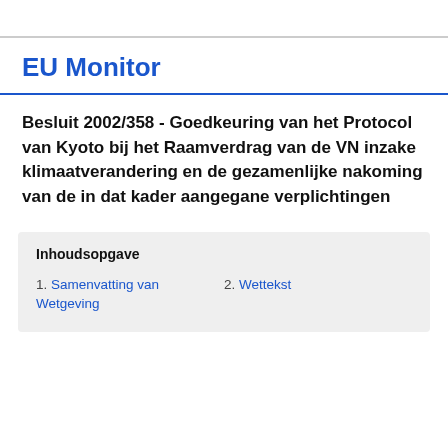EU Monitor
Besluit 2002/358 - Goedkeuring van het Protocol van Kyoto bij het Raamverdrag van de VN inzake klimaatverandering en de gezamenlijke nakoming van de in dat kader aangegane verplichtingen
Inhoudsopgave
1. Samenvatting van Wetgeving
2. Wettekst